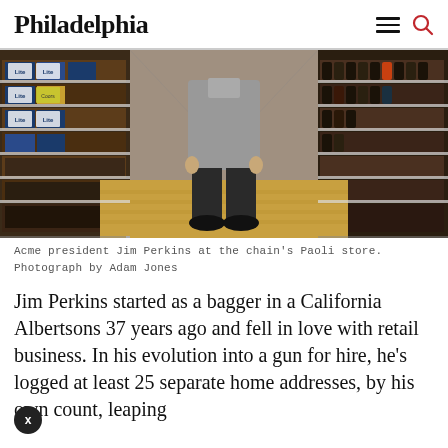Philadelphia
[Figure (photo): Person standing in a store aisle with beer and wine shelves on either side, wearing a grey blazer and dark trousers.]
Acme president Jim Perkins at the chain's Paoli store. Photograph by Adam Jones
Jim Perkins started as a bagger in a California Albertsons 37 years ago and fell in love with retail business. In his evolution into a gun for hire, he's logged at least 25 separate home addresses, by his own count, leaping